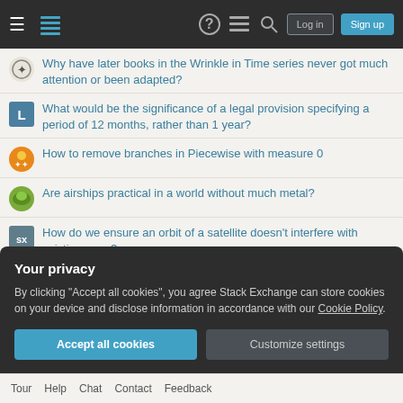Stack Exchange navigation bar with Log in and Sign up buttons
Why have later books in the Wrinkle in Time series never got much attention or been adapted?
What would be the significance of a legal provision specifying a period of 12 months, rather than 1 year?
How to remove branches in Piecewise with measure 0
Are airships practical in a world without much metal?
How do we ensure an orbit of a satellite doesn't interfere with existing ones?
What is involved in a WSL "distribution"?
Why are radial engines louder than inline engines?
Your privacy
By clicking "Accept all cookies", you agree Stack Exchange can store cookies on your device and disclose information in accordance with our Cookie Policy.
Tour  Help  Chat  Contact  Feedback